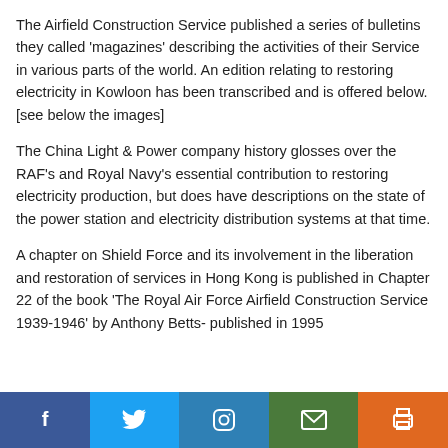The Airfield Construction Service published a series of bulletins they called 'magazines' describing the activities of their Service in various parts of the world. An edition relating to restoring electricity in Kowloon has been transcribed and is offered below. [see below the images]
The China Light & Power company history glosses over the RAF's and Royal Navy's essential contribution to restoring electricity production, but does have descriptions on the state of the power station and electricity distribution systems at that time.
A chapter on Shield Force and its involvement in the liberation and restoration of services in Hong Kong is published in Chapter 22 of the book 'The Royal Air Force Airfield Construction Service 1939-1946' by Anthony Betts- published in 1995
Social share bar: Facebook, Twitter, Instagram, Email, Print